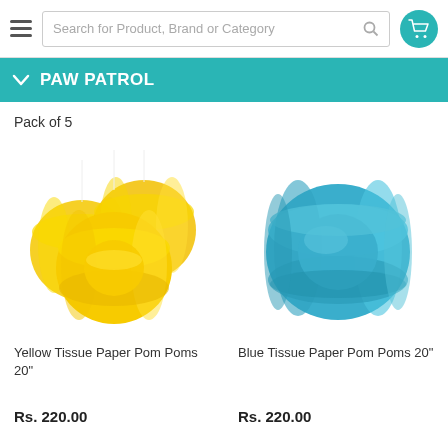[Figure (screenshot): E-commerce website header with hamburger menu, search bar reading 'Search for Product, Brand or Category', and a teal shopping cart icon]
PAW PATROL
Pack of 5
[Figure (photo): Three yellow tissue paper pom poms hanging on strings]
Yellow Tissue Paper Pom Poms 20"
Rs. 220.00
[Figure (photo): One blue tissue paper pom pom]
Blue Tissue Paper Pom Poms 20"
Rs. 220.00